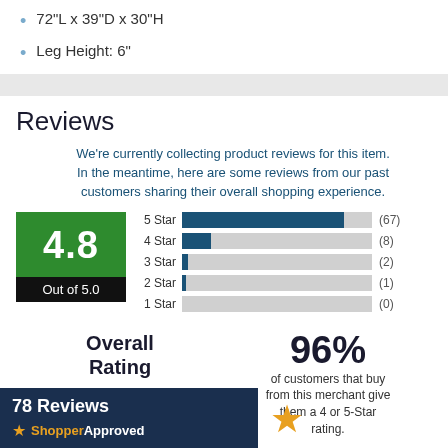72"L x 39"D x 30"H
Leg Height: 6"
Reviews
We're currently collecting product reviews for this item. In the meantime, here are some reviews from our past customers sharing their overall shopping experience.
[Figure (bar-chart): 4.8 Out of 5.0]
Overall Rating
96% of customers that buy from this merchant give them a 4 or 5-Star rating.
78 Reviews
ShopperApproved